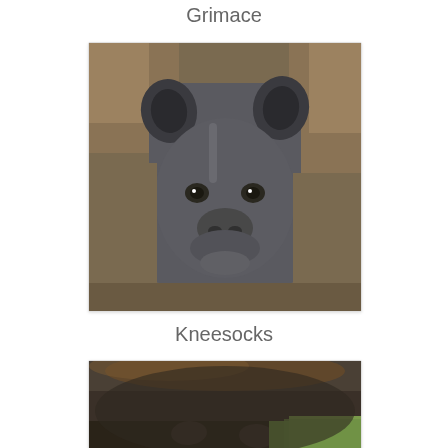Grimace
[Figure (photo): Close-up photograph of a hyena looking directly at the camera, showing its face with dark rounded ears, dark eyes, and a broad snout. The background shows blurred fur, suggesting it is resting against or near another animal.]
Kneesocks
[Figure (photo): Partial photograph of a hyena from above, showing its dark brown/black back fur. A patch of green grass is visible in the lower right corner.]